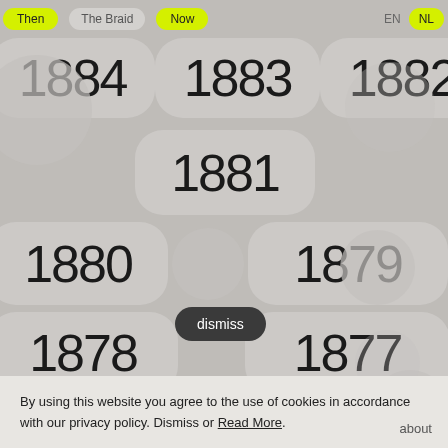Then | The Braid | Now | EN | NL
[Figure (screenshot): Website screenshot showing year navigation buttons (1884, 1883, 1882, 1881, 1880, 1879, 1878, 1877) displayed as rounded pill-shaped buttons over a stone/pebble textured background. Yellow highlighted navigation buttons for Then, Now, NL at the top. A dark dismiss button overlaid on year 1876 area.]
dismiss
By using this website you agree to the use of cookies in accordance with our privacy policy. Dismiss or Read More.
about